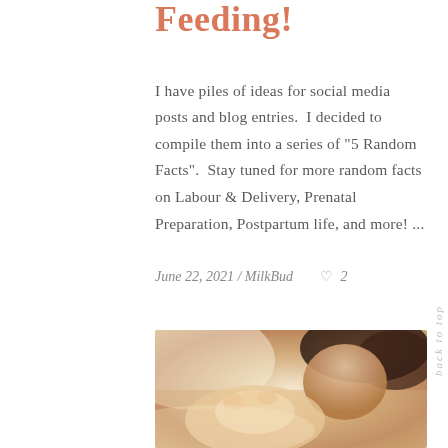Feeding!
I have piles of ideas for social media posts and blog entries.  I decided to compile them into a series of "5 Random Facts".  Stay tuned for more random facts on Labour & Delivery, Prenatal Preparation, Postpartum life, and more! ...
June 22, 2021 / MilkBud   ♡ 2
[Figure (photo): A woman kissing or nuzzling a newborn baby's feet, warm toned photograph]